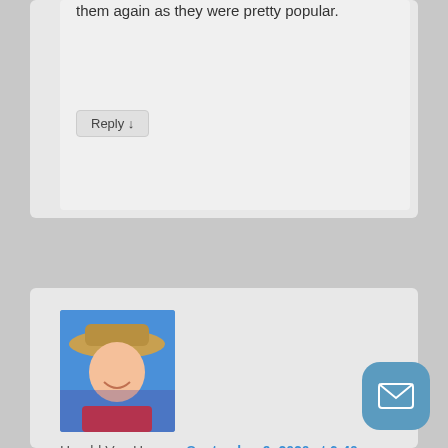them again as they were pretty popular.
Reply ↓
[Figure (photo): Avatar photo of Harold Van Horn, a young man wearing a wide-brim hat, smiling, wearing a red shirt, outdoors]
Harold Van Horn on September 9, 2020 at 6:40 pm said:
I would like to know the cost of the drive over gate. Please note the different lengths and costs for the standard height gates.
Reply ↓
Rob
[Figure (illustration): Mail/envelope icon button in blue rounded square]